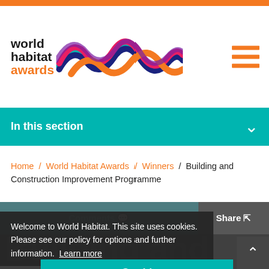[Figure (logo): World Habitat Awards logo with colorful wave graphic and text 'world habitat awards']
In this section
Home / World Habitat Awards / Winners / Building and Construction Improvement Programme
Comments  Share
Welcome to World Habitat. This site uses cookies. Please see our policy for options and further information. Learn more
Building and Construction Improvement Programme
Got it!